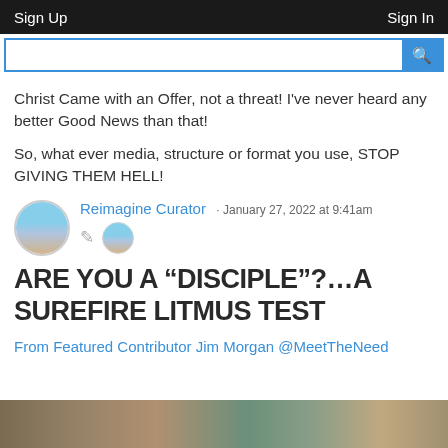Sign Up   Sign In
Christ Came with an Offer, not a threat! I've never heard any better Good News than that!
So, what ever media, structure or format you use, STOP GIVING THEM HELL!
Reimagine Curator · January 27, 2022 at 9:41am
ARE YOU A “DISCIPLE”?...A SUREFIRE LITMUS TEST
From Featured Contributor Jim Morgan @MeetTheNeed
[Figure (photo): Bottom photo strip partially visible]